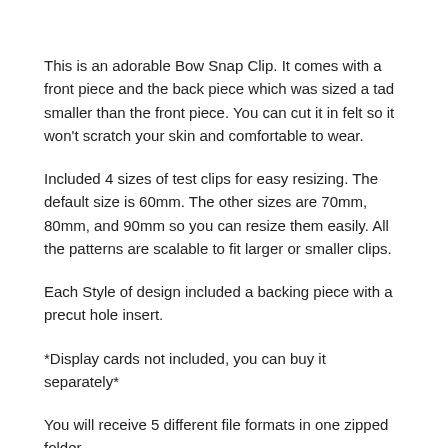This is an adorable Bow Snap Clip. It comes with a front piece and the back piece which was sized a tad smaller than the front piece. You can cut it in felt so it won't scratch your skin and comfortable to wear.
Included 4 sizes of test clips for easy resizing. The default size is 60mm. The other sizes are 70mm, 80mm, and 90mm so you can resize them easily. All the patterns are scalable to fit larger or smaller clips.
Each Style of design included a backing piece with a precut hole insert.
*Display cards not included, you can buy it separately*
You will receive 5 different file formats in one zipped folder.
This is an instant digital download only, No physical product will be shipped.